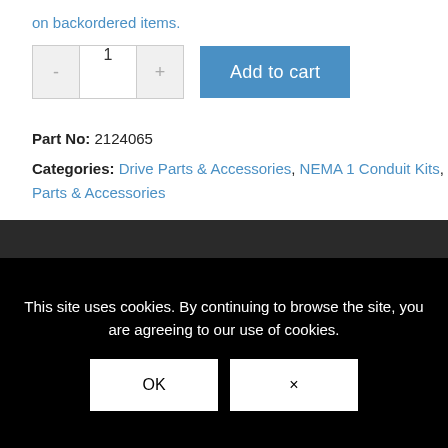on backordered items.
- 1 +  Add to cart
Part No: 2124065
Categories: Drive Parts & Accessories, NEMA 1 Conduit Kits, Parts & Accessories
This site uses cookies. By continuing to browse the site, you are agreeing to our use of cookies.
OK  ×